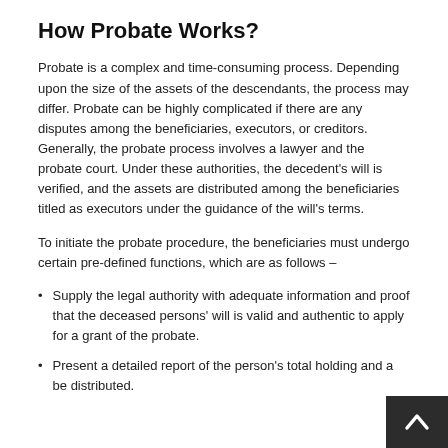How Probate Works?
Probate is a complex and time-consuming process. Depending upon the size of the assets of the descendants, the process may differ. Probate can be highly complicated if there are any disputes among the beneficiaries, executors, or creditors. Generally, the probate process involves a lawyer and the probate court. Under these authorities, the decedent's will is verified, and the assets are distributed among the beneficiaries titled as executors under the guidance of the will's terms.
To initiate the probate procedure, the beneficiaries must undergo certain pre-defined functions, which are as follows –
Supply the legal authority with adequate information and proof that the deceased persons' will is valid and authentic to apply for a grant of the probate.
Present a detailed report of the person's total holding and a… be distributed.